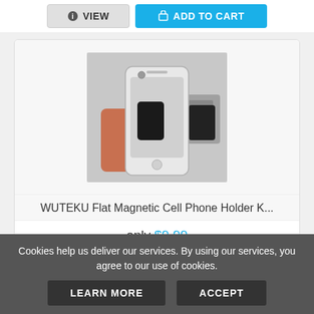[Figure (other): Two buttons: VIEW (gray) and ADD TO CART (blue) at the top of the page]
[Figure (photo): Photo of a hand holding an iPhone with a black magnetic phone holder, with a car dashboard visible in background showing the flat magnetic mount]
WUTEKU Flat Magnetic Cell Phone Holder K...
only $9.99
Cookies help us deliver our services. By using our services, you agree to our use of cookies.
LEARN MORE
ACCEPT